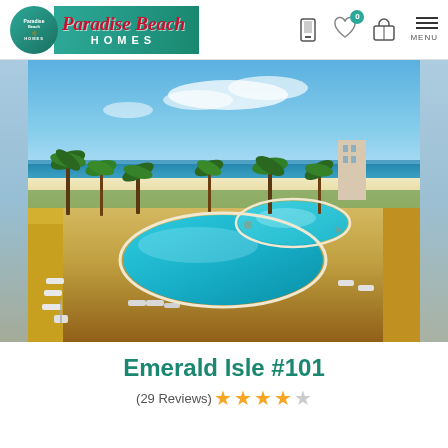[Figure (logo): Paradise Beach Homes logo with teal background and red cursive script]
[Figure (photo): Aerial view of a beachfront resort pool area with white sand beach, palm trees, turquoise ocean, and lounge chairs surrounding a large free-form pool]
Emerald Isle #101
(29 Reviews) ★★★★☆